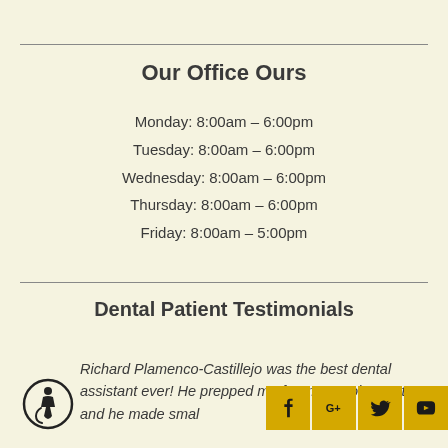Our Office Ours
Monday: 8:00am – 6:00pm
Tuesday: 8:00am – 6:00pm
Wednesday: 8:00am – 6:00pm
Thursday: 8:00am – 6:00pm
Friday: 8:00am – 5:00pm
Dental Patient Testimonials
Richard Plamenco-Castillejo was the best dental assistant ever! He prepped me for my appointment and he made smal
[Figure (logo): Accessibility wheelchair icon in circular border]
[Figure (other): Social media icons: Facebook, Google+, Twitter, YouTube in gold/yellow square buttons]